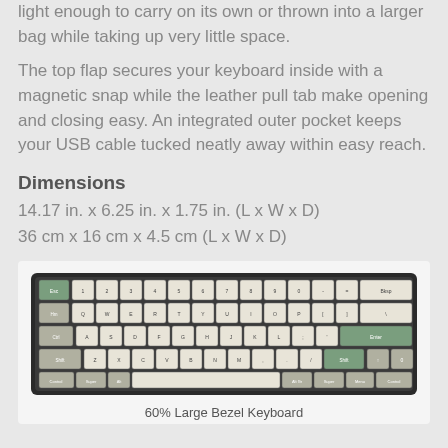light enough to carry on its own or thrown into a larger bag while taking up very little space.
The top flap secures your keyboard inside with a magnetic snap while the leather pull tab make opening and closing easy. An integrated outer pocket keeps your USB cable tucked neatly away within easy reach.
Dimensions
14.17 in. x 6.25 in. x 1.75 in. (L x W x D)
36 cm x 16 cm x 4.5 cm (L x W x D)
[Figure (photo): A 60% Large Bezel Keyboard with cream/ivory keycaps and green accent keys on a dark frame background]
60% Large Bezel Keyboard